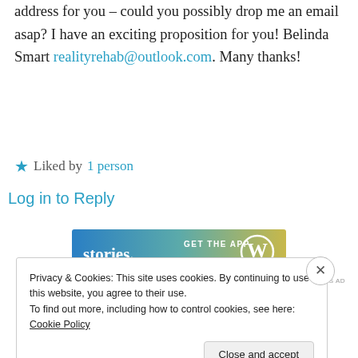address for you – could you possibly drop me an email asap? I have an exciting proposition for you! Belinda Smart realityrehab@outlook.com. Many thanks!
★ Liked by 1 person
Log in to Reply
[Figure (other): WordPress 'stories. GET THE APP' advertisement banner with gradient blue-to-yellow background and WordPress logo]
REPORT THIS AD
Privacy & Cookies: This site uses cookies. By continuing to use this website, you agree to their use.
To find out more, including how to control cookies, see here: Cookie Policy
Close and accept